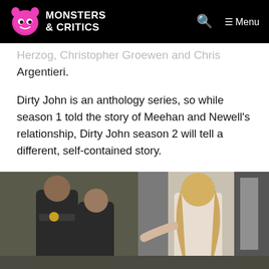Monsters & Critics — Menu
Herzog, Christopher Groewen and Chris Argentieri.
Dirty John is an anthology series, so while season 1 told the story of Meehan and Newell's relationship, Dirty John season 2 will tell a different, self-contained story.
Dirty John season 2 trailer
[Figure (photo): Scene from Dirty John season 2 showing two police officers and a blonde woman in a white outfit gesturing with her hands inside a building.]